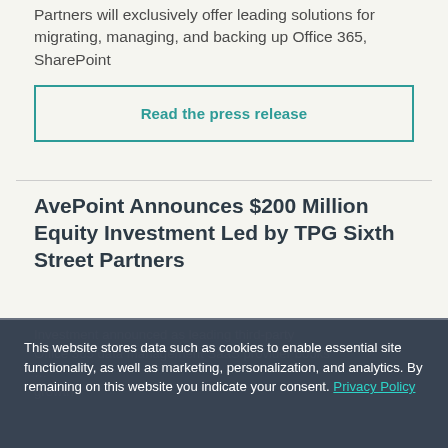Partners will exclusively offer leading solutions for migrating, managing, and backing up Office 365, SharePoint
Read the press release
AvePoint Announces $200 Million Equity Investment Led by TPG Sixth Street Partners
Investment announced as leading third-party Office 365 data management SaaS provider books growth
This website stores data such as cookies to enable essential site functionality, as well as marketing, personalization, and analytics. By remaining on this website you indicate your consent. Privacy Policy